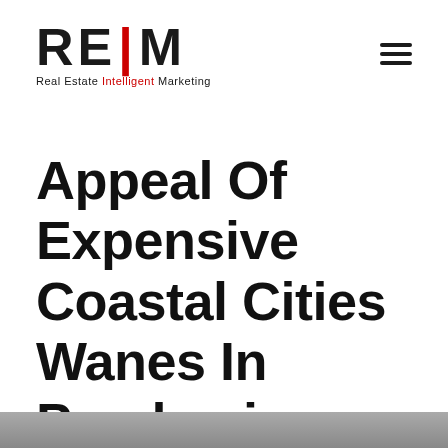REIM — Real Estate Intelligent Marketing
Appeal Of Expensive Coastal Cities Wanes In Pandemic
[Figure (photo): Grey image strip at the bottom of the page, partial view of a photograph]